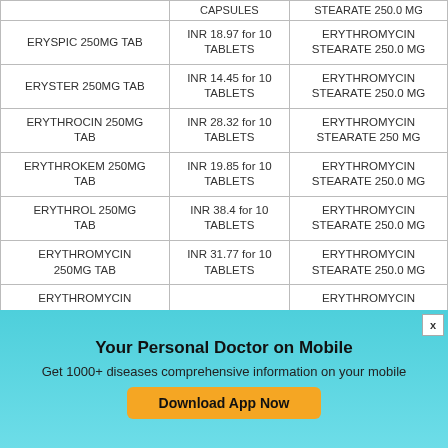| Drug Name | Price | Composition |
| --- | --- | --- |
|  | CAPSULES | STEARATE 250.0 MG |
| ERYSPIC 250MG TAB | INR 18.97 for 10 TABLETS | ERYTHROMYCIN STEARATE 250.0 MG |
| ERYSTER 250MG TAB | INR 14.45 for 10 TABLETS | ERYTHROMYCIN STEARATE 250.0 MG |
| ERYTHROCIN 250MG TAB | INR 28.32 for 10 TABLETS | ERYTHROMYCIN STEARATE 250 MG |
| ERYTHROKEM 250MG TAB | INR 19.85 for 10 TABLETS | ERYTHROMYCIN STEARATE 250.0 MG |
| ERYTHROL 250MG TAB | INR 38.4 for 10 TABLETS | ERYTHROMYCIN STEARATE 250.0 MG |
| ERYTHROMYCIN 250MG TAB | INR 31.77 for 10 TABLETS | ERYTHROMYCIN STEARATE 250.0 MG |
| ERYTHROMYCIN STEARATE |  | ERYTHROMYCIN STEARATE |
| ERYTHROTONE 250MG TAB | INR 24.2 for 10 TABLETS | ERYTHROMYCIN STEARATE 250.0 MG |
| ETOCIN 250MG TAB | INR 600 for 10 TABLETS | ERYTHROMYCIN STEARATE 250.0 MG |
| [partial row] | INR 41.34 for 10 | ERYTHROMYCIN |
Your Personal Doctor on Mobile
Get 1000+ diseases comprehensive information on your mobile
Download App Now